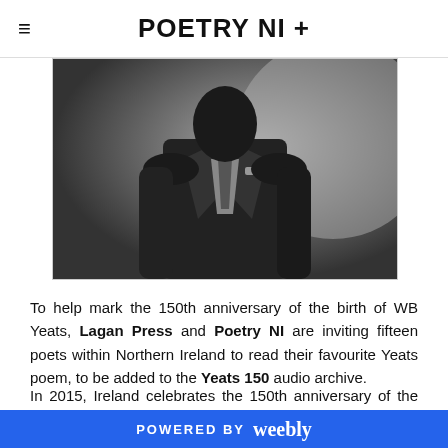POETRY NI +
[Figure (photo): Black and white photograph of a man in a suit, cropped to show torso and upper body]
To help mark the 150th anniversary of the birth of WB Yeats, Lagan Press and Poetry NI are inviting fifteen poets within Northern Ireland to read their favourite Yeats poem, to be added to the Yeats 150 audio archive.
In 2015, Ireland celebrates the 150th anniversary of the birth of the Nobel Prize-winning poet, William Butler Yeats. As part of the commemorations, Your Yeats is an
POWERED BY weebly